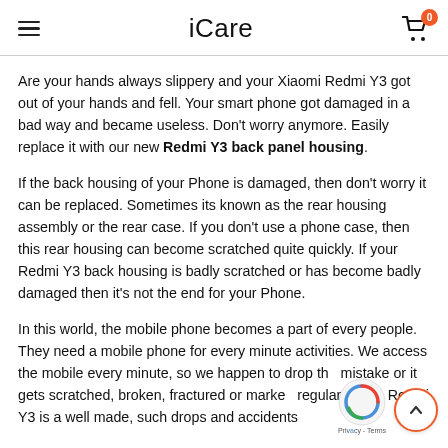iCare
Are your hands always slippery and your Xiaomi Redmi Y3 got out of your hands and fell. Your smart phone got damaged in a bad way and became useless. Don't worry anymore. Easily replace it with our new Redmi Y3 back panel housing.
If the back housing of your Phone is damaged, then don't worry it can be replaced. Sometimes its known as the rear housing assembly or the rear case. If you don't use a phone case, then this rear housing can become scratched quite quickly. If your Redmi Y3 back housing is badly scratched or has become badly damaged then it's not the end for your Phone.
In this world, the mobile phone becomes a part of every people. They need a mobile phone for every minute activities. We access the mobile every minute, so we happen to drop the by mistake or it gets scratched, broken, fractured or marked by regular users. Redmi Y3 is a well made, such drops and accidents